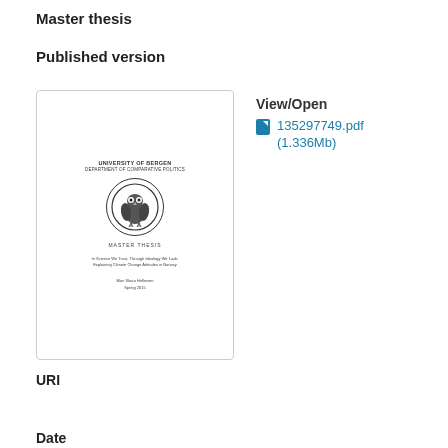Master thesis
Published version
[Figure (other): Thumbnail of a master thesis cover page from the University of Bergen, Department of Comparative Politics, featuring the Universitas Bergensis owl logo in a circular seal, titled 'In Science We Trust, Through Ideology We Look: Explaining Climate Change Attitudes in Norway' by Mari Skåra Helliesen, Spring 2015]
View/Open
135297749.pdf (1.336Mb)
URI
https://hdl.handle.net/1956/10240
Date